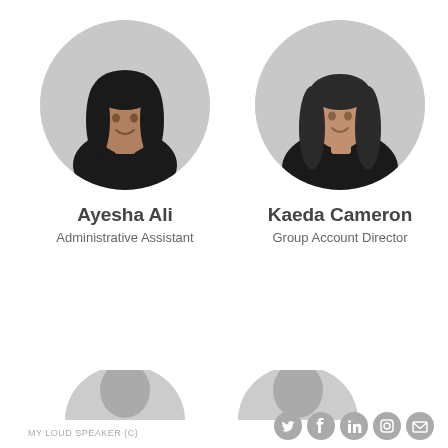[Figure (photo): Circular black-and-white portrait photo of Ayesha Ali, a woman with long dark hair, smiling]
Ayesha Ali
Administrative Assistant
[Figure (photo): Circular black-and-white portrait photo of Kaeda Cameron, a woman with long straight dark hair, smiling]
Kaeda Cameron
Group Account Director
[Figure (photo): Partial circular portrait of a third person, cropped at bottom left]
[Figure (photo): Partial circular portrait of a fourth person, cropped at bottom right]
MY LOUD SPEAKER (C)